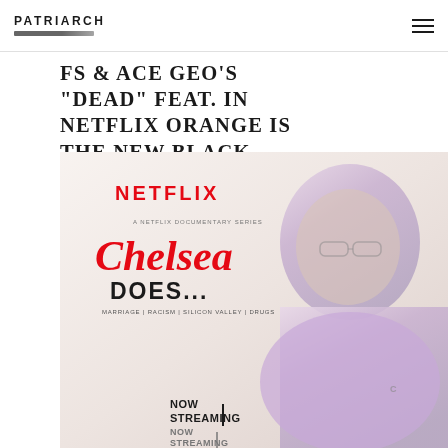PATRIARCH
FS & ACE GEO'S “DEAD” FEAT. IN NETFLIX ORANGE IS THE NEW BLACK
[Figure (photo): Netflix Chelsea Does... documentary series promotional image with a person wearing glasses and a purple hoodie overlaid on the right side. Netflix logo in red at top left. Chelsea Does... title in red cursive with DOES... in bold black. Topics listed: MARRIAGE | RACISM | SILICON VALLEY | DRUGS. NOW STREAMING text at bottom.]